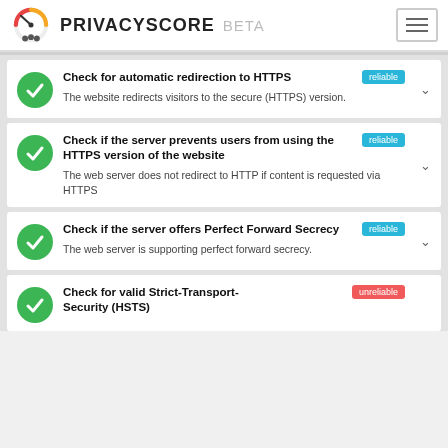PRIVACYSCORE BETA
Check for automatic redirection to HTTPS
reliable
The website redirects visitors to the secure (HTTPS) version.
Check if the server prevents users from using the HTTPS version of the website
reliable
The web server does not redirect to HTTP if content is requested via HTTPS
Check if the server offers Perfect Forward Secrecy
reliable
The web server is supporting perfect forward secrecy.
Check for valid Strict-Transport-Security (HSTS)
unreliable